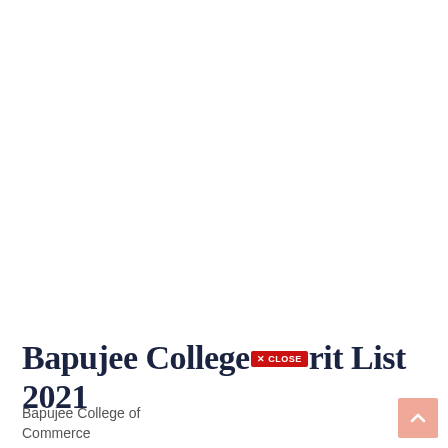Bapujee College Merit List 2021
Bapujee College of Commerce